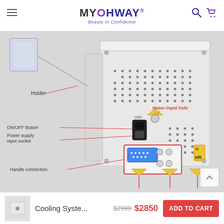MYOHWAY® Beauty In Confidence
[Figure (photo): Back panel of a beauty/cooling system machine with labeled components: Holder (top left, transparent acrylic cup holder), Water-input hole (top center, yellow connector), ON/OFF Button (middle left, black rocker switch), Power supply input socket (middle left, below ON/OFF), Handle connection (bottom left, rectangular port with blue connector and circular ports, outlined in red), HR label (yellow, right side), ventilation grille dots on back panel.]
Cooling Syste...
$2999  $2850  ADD TO CART